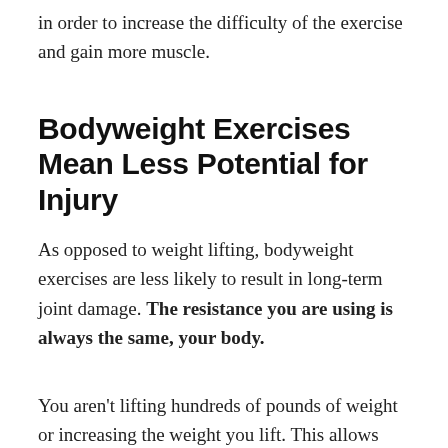in order to increase the difficulty of the exercise and gain more muscle.
Bodyweight Exercises Mean Less Potential for Injury
As opposed to weight lifting, bodyweight exercises are less likely to result in long-term joint damage. The resistance you are using is always the same, your body.
You aren't lifting hundreds of pounds of weight or increasing the weight you lift. This allows your joints to adapt easily to your training, avoid injury and can even strengthen your